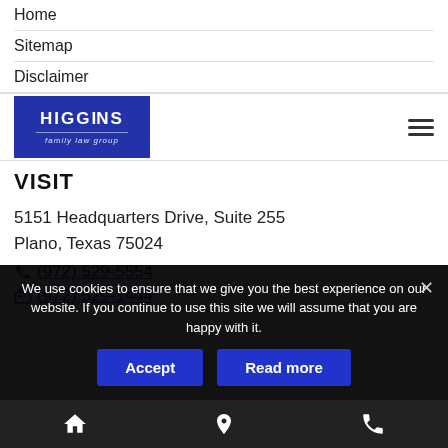Home
Sitemap
Disclaimer
[Figure (logo): Higgins Family Law Group logo – white text on blue background]
VISIT
5151 Headquarters Drive, Suite 255
Plano, Texas 75024
(972) 529-5554
(972) 529-1444
We use cookies to ensure that we give you the best experience on our website. If you continue to use this site we will assume that you are happy with it.